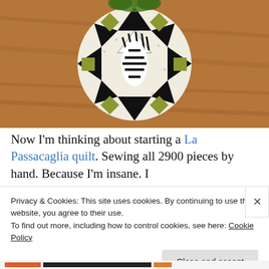[Figure (photo): A quilt block arrangement photographed on a wood floor. The quilt features black and white striped triangles, solid black triangles, olive/chartreuse green squares, and a newspaper print background fabric, arranged in a circular star pattern.]
Now I'm thinking about starting a La Passacaglia quilt. Sewing all 2900 pieces by hand. Because I'm insane. I
Privacy & Cookies: This site uses cookies. By continuing to use this website, you agree to their use.
To find out more, including how to control cookies, see here: Cookie Policy
Close and accept